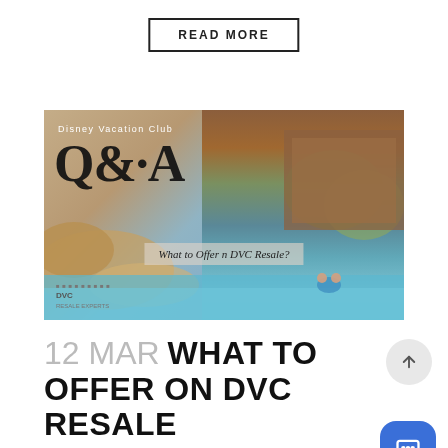READ MORE
[Figure (photo): Disney Vacation Club Q&A promotional image showing a resort pool area with rocky water features and a large wooden lodge-style building. Text overlay reads 'Disney Vacation Club Q&A' and 'What to Offer n DVC Resale?']
12 MAR WHAT TO OFFER ON DVC RESALE